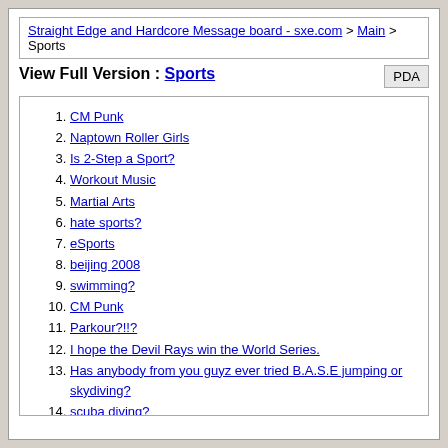Straight Edge and Hardcore Message board - sxe.com > Main > Sports
View Full Version : Sports
1. CM Punk
2. Naptown Roller Girls
3. Is 2-Step a Sport?
4. Workout Music
5. Martial Arts
6. hate sports?
7. eSports
8. beijing 2008
9. swimming?
10. CM Punk
11. Parkour?!!?
12. I hope the Devil Rays win the World Series.
13. Has anybody from you guyz ever tried B.A.S.E jumping or skydiving?
14. scuba diving?
15. Ju-do
16. the new tennis
17. skatespots @ D.C.
18. Lax
19. Airplanes and Motorcycles
20. Skatebording
21. icehockey